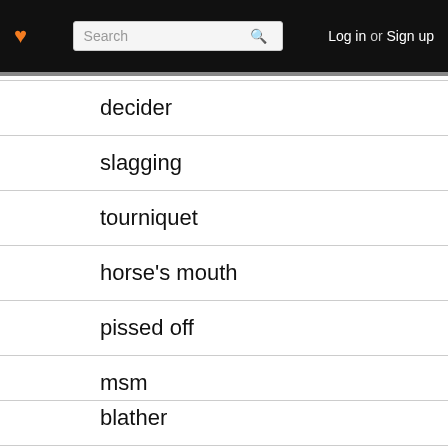Log in or Sign up
decider
slagging
tourniquet
horse's mouth
pissed off
msm
blather
watchdogs
lede